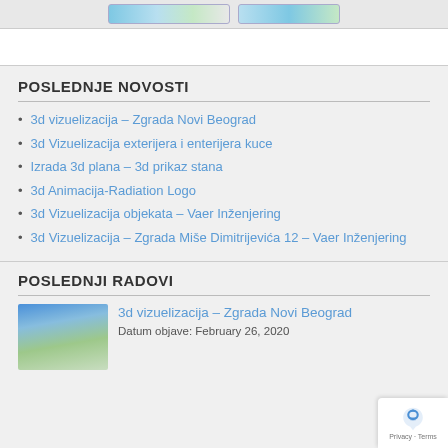[Figure (screenshot): Top strip with two map/button elements partially visible]
POSLEDNJE NOVOSTI
3d vizuelizacija – Zgrada Novi Beograd
3d Vizuelizacija exterijera i enterijera kuce
Izrada 3d plana – 3d prikaz stana
3d Animacija-Radiation Logo
3d Vizuelizacija objekata – Vaer Inženjering
3d Vizuelizacija – Zgrada Miše Dimitrijevića 12 – Vaer Inženjering
POSLEDNJI RADOVI
[Figure (photo): Thumbnail photo of a modern building with blue glass facade]
3d vizuelizacija – Zgrada Novi Beograd
Datum objave: February 26, 2020